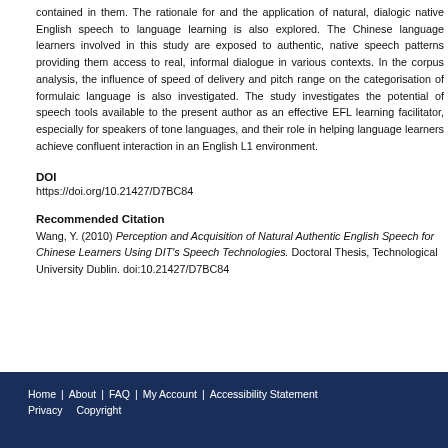contained in them. The rationale for and the application of natural, dialogic native English speech to language learning is also explored. The Chinese language learners involved in this study are exposed to authentic, native speech patterns providing them access to real, informal dialogue in various contexts. In the corpus analysis, the influence of speed of delivery and pitch range on the categorisation of formulaic language is also investigated. The study investigates the potential of speech tools available to the present author as an effective EFL learning facilitator, especially for speakers of tone languages, and their role in helping language learners achieve confluent interaction in an English L1 environment.
DOI
https://doi.org/10.21427/D7BC84
Recommended Citation
Wang, Y. (2010) Perception and Acquisition of Natural Authentic English Speech for Chinese Learners Using DIT's Speech Technologies. Doctoral Thesis, Technological University Dublin. doi:10.21427/D7BC84
Home | About | FAQ | My Account | Accessibility Statement Privacy Copyright